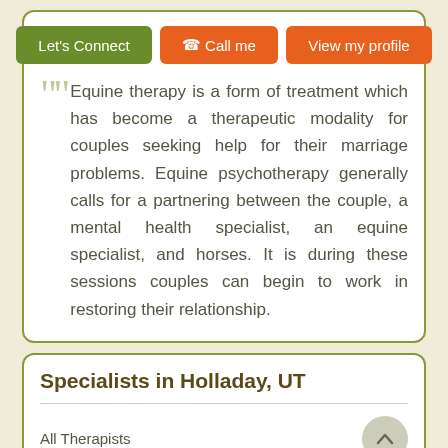[Figure (other): Three action buttons: Let's Connect (green), Call me (orange with phone icon), View my profile (orange)]
Equine therapy is a form of treatment which has become a therapeutic modality for couples seeking help for their marriage problems. Equine psychotherapy generally calls for a partnering between the couple, a mental health specialist, an equine specialist, and horses. It is during these sessions couples can begin to work in restoring their relationship.
Specialists in Holladay, UT
All Therapists